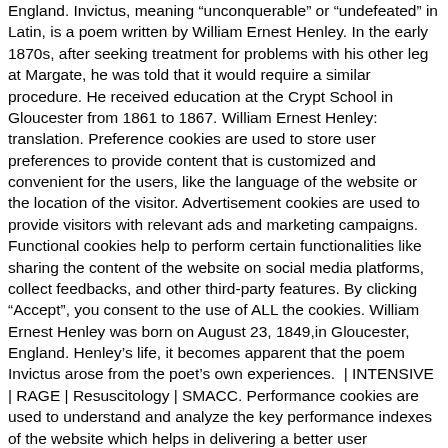England. Invictus, meaning "unconquerable" or "undefeated" in Latin, is a poem written by William Ernest Henley. In the early 1870s, after seeking treatment for problems with his other leg at Margate, he was told that it would require a similar procedure. He received education at the Crypt School in Gloucester from 1861 to 1867. William Ernest Henley: translation. Preference cookies are used to store user preferences to provide content that is customized and convenient for the users, like the language of the website or the location of the visitor. Advertisement cookies are used to provide visitors with relevant ads and marketing campaigns. Functional cookies help to perform certain functionalities like sharing the content of the website on social media platforms, collect feedbacks, and other third-party features. By clicking “Accept”, you consent to the use of ALL the cookies. William Ernest Henley was born on August 23, 1849,in Gloucester, England. Henley’s life, it becomes apparent that the poem Invictus arose from the poet’s own experiences. | INTENSIVE | RAGE | Resuscitology | SMACC. Performance cookies are used to understand and analyze the key performance indexes of the website which helps in delivering a better user experience for the visitors. He coordinates the Alfred ICU’s education and simulation programmes and runs the unit’s education website, INTENSIVE. Henley contracted tuberculosis of the bone at age 12, causing the am… Clinical Adjunct Associate Professor at Monash University, Australia and New Zealand Clinician Educator Network, Creative Commons Attribution-